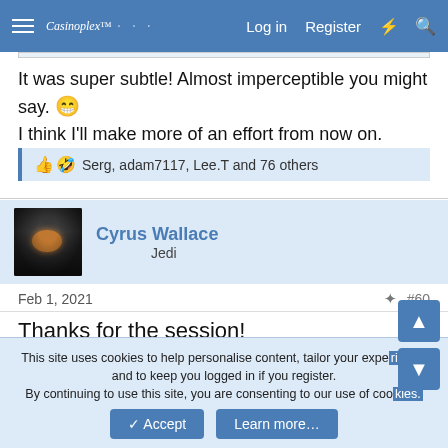Casinoplex™  Log in  Register
It was super subtle! Almost imperceptible you might say. 😁 I think I'll make more of an effort from now on.
👍 🤣 Serg, adam7117, Lee.T and 76 others
Cyrus Wallace
Jedi
Feb 1, 2021  #60
Thanks for the session!
This site uses cookies to help personalise content, tailor your experience and to keep you logged in if you register.
By continuing to use this site, you are consenting to our use of cookies.
✓ Accept  Learn more…